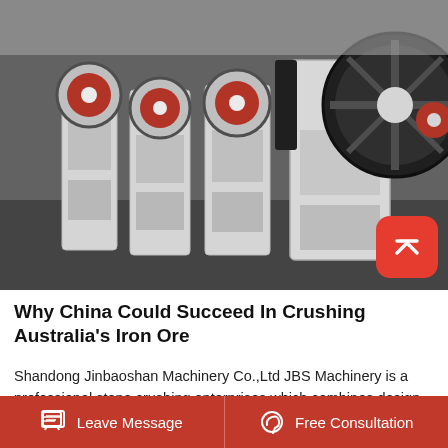[Figure (photo): Row of white jaw crushers with red and black flywheels arranged in a factory/workshop setting. Machines have white metal frames with red circular disk elements and large black belt-driven wheels.]
Why China Could Succeed In Crushing Australia's Iron Ore
Shandong Jinbaoshan Machinery Co.,Ltd JBS Machinery is a professional stone crushing enterprises which combines design, manufacture and sales team as well as supply various model of stone crushing machines and stone crushing plants, such as
Leave Message   Free Consultation